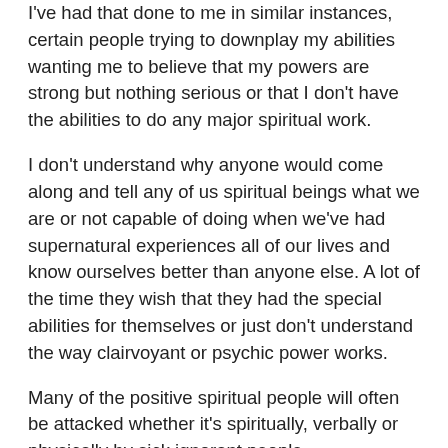I've had that done to me in similar instances, certain people trying to downplay my abilities wanting me to believe that my powers are strong but nothing serious or that I don't have the abilities to do any major spiritual work.
I don't understand why anyone would come along and tell any of us spiritual beings what we are or not capable of doing when we've had supernatural experiences all of our lives and know ourselves better than anyone else. A lot of the time they wish that they had the special abilities for themselves or just don't understand the way clairvoyant or psychic power works.
Many of the positive spiritual people will often be attacked whether it's spiritually, verbally or physically by sick ignorant people.
I personally never cared if anyone believed in me or not